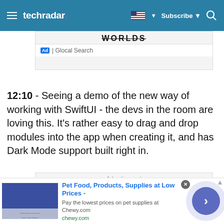techradar | Subscribe
[Figure (screenshot): Partial ad banner showing 'WORLDS' text with 'Ad | Glocal Search' label below]
12:10 - Seeing a demo of the new way of working with SwiftUI - the devs in the room are loving this. It's rather easy to drag and drop modules into the app when creating it, and has Dark Mode support built right in.
[Figure (screenshot): Advertisement box with 'Search for' input and 'LATEST BUSINESS' text]
[Figure (screenshot): Bottom ad banner: Pet Food, Products, Supplies at Low Prices - Chewy.com with forward arrow button]